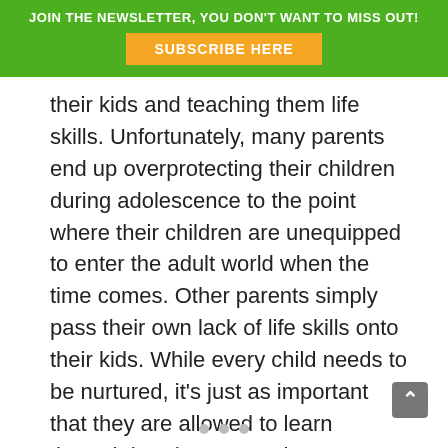JOIN THE NEWSLETTER, YOU DON'T WANT TO MISS OUT!
SUBSCRIBE HERE
their kids and teaching them life skills. Unfortunately, many parents end up overprotecting their children during adolescence to the point where their children are unequipped to enter the adult world when the time comes. Other parents simply pass their own lack of life skills onto their kids. While every child needs to be nurtured, it's just as important that they are allowed to learn through hands-on experience.